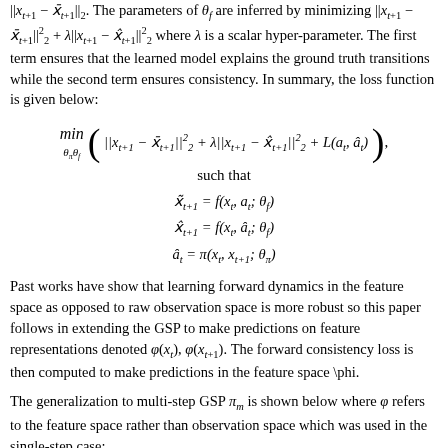||x_{t+1} − x̄_{t+1}||_2. The parameters of θ_f are inferred by minimizing ||x_{t+1} − x̄_{t+1}||^2_2 + λ||x_{t+1} − x̂_{t+1}||^2_2 where λ is a scalar hyper-parameter. The first term ensures that the learned model explains the ground truth transitions while the second term ensures consistency. In summary, the loss function is given below:
Past works have show that learning forward dynamics in the feature space as opposed to raw observation space is more robust so this paper follows in extending the GSP to make predictions on feature representations denoted φ(x_t), φ(x_{t+1}). The forward consistency loss is then computed to make predictions in the feature space \phi.
The generalization to multi-step GSP π_m is shown below where φ refers to the feature space rather than observation space which was used in the single-step case: